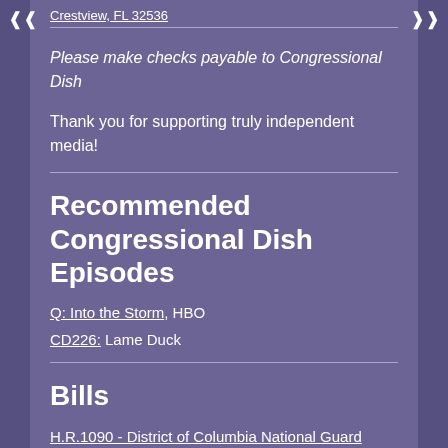Crestview, FL 32536
Please make checks payable to Congressional Dish
Thank you for supporting truly independent media!
Recommended Congressional Dish Episodes
Q: Into the Storm, HBO
CD226: Lame Duck
Bills
H.R.1090 - District of Columbia National Guard Home Rule Act